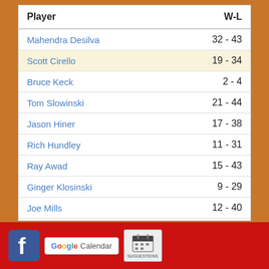| Player | W-L |
| --- | --- |
| Mahendra Desilva | 32 - 43 |
| Scott Cirello | 19 - 34 |
| Bruce Keck | 2 - 4 |
| Tom Slowinski | 21 - 44 |
| Jason Hiner | 17 - 38 |
| Rich Hundley | 11 - 31 |
| Ray Awad | 15 - 43 |
| Ginger Klosinski | 9 - 29 |
| Joe Mills | 12 - 40 |
| Rick Czarnecki | 5 - 23 |
| Dave Beck | 7 - 39 |
[Figure (logo): Facebook icon, Google Calendar button, and a suggestions/calendar icon in a red footer bar]